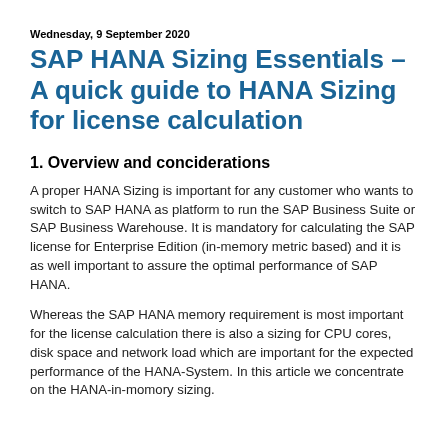Wednesday, 9 September 2020
SAP HANA Sizing Essentials – A quick guide to HANA Sizing for license calculation
1. Overview and conciderations
A proper HANA Sizing is important for any customer who wants to switch to SAP HANA as platform to run the SAP Business Suite or SAP Business Warehouse. It is mandatory for calculating the SAP license for Enterprise Edition (in-memory metric based) and it is as well important to assure the optimal performance of SAP HANA.
Whereas the SAP HANA memory requirement is most important for the license calculation there is also a sizing for CPU cores, disk space and network load which are important for the expected performance of the HANA-System. In this article we concentrate on the HANA-in-momory sizing.